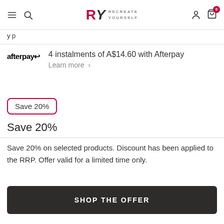RY RECREATE YOURSELF navigation bar with menu, search, logo, account, and cart icons
y p
4 instalments of A$14.60 with Afterpay
Learn more >
Save 20%
Save 20%
Save 20% on selected products. Discount has been applied to the RRP. Offer valid for a limited time only.
SHOP THE OFFER